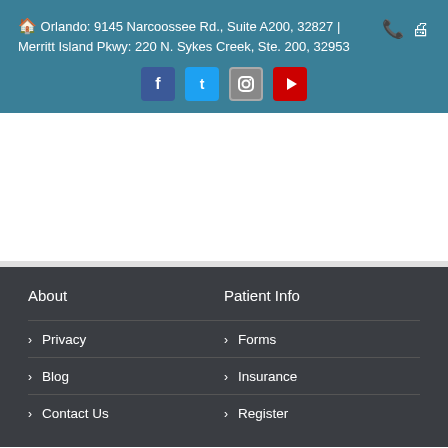🏠 Orlando: 9145 Narcoossee Rd., Suite A200, 32827 | Merritt Island Pkwy: 220 N. Sykes Creek, Ste. 200, 32953
[Figure (other): Social media icons: Facebook, Twitter, Instagram, YouTube]
About
Patient Info
> Privacy
> Forms
> Blog
> Insurance
> Contact Us
> Register